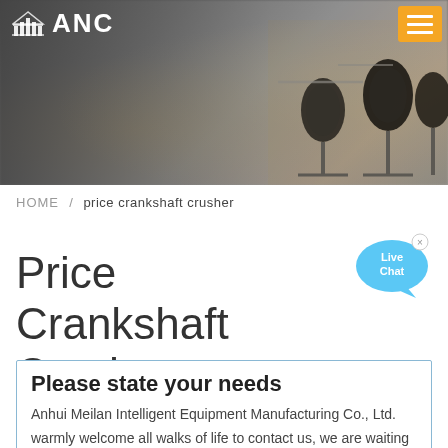[Figure (photo): Header banner showing a blurry factory/industrial background with microphones on the right side. ANC logo and hamburger menu button visible.]
ANC
HOME / price crankshaft crusher
Price Crankshaft Crusher
Please state your needs
Anhui Meilan Intelligent Equipment Manufacturing Co., Ltd. warmly welcome all walks of life to contact us, we are waiting for your inquiry all day!